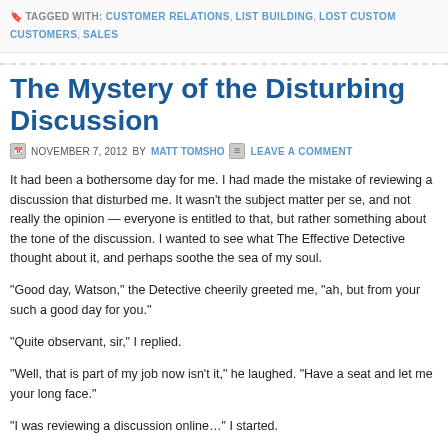TAGGED WITH: CUSTOMER RELATIONS, LIST BUILDING, LOST CUSTOMERS, SALES
The Mystery of the Disturbing Discussion
NOVEMBER 7, 2012 BY MATT TOMSHO | LEAVE A COMMENT
It had been a bothersome day for me. I had made the mistake of reviewing a discussion that disturbed me. It wasn't the subject matter per se, and not really the opinion expressed — everyone is entitled to that, but rather something about the tone of the discussion. I wanted to see what The Effective Detective thought about it, and perhaps soothe the soul a bit.
“Good day, Watson,” the Detective cheerily greeted me, “ah, but from your expression, not such a good day for you.”
“Quite observant, sir,” I replied.
“Well, that is part of my job now isn’t it,” he laughed. “Have a seat and let me help you with your long face.”
“I was reviewing a discussion online…” I started.
“Political, religious, or business?” The Detective interjected. “Not that it ac…”